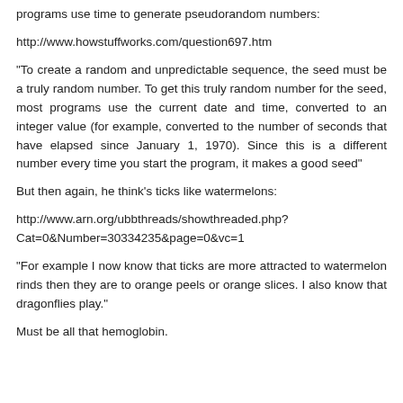programs use time to generate pseudorandom numbers:
http://www.howstuffworks.com/question697.htm
"To create a random and unpredictable sequence, the seed must be a truly random number. To get this truly random number for the seed, most programs use the current date and time, converted to an integer value (for example, converted to the number of seconds that have elapsed since January 1, 1970). Since this is a different number every time you start the program, it makes a good seed"
But then again, he think's ticks like watermelons:
http://www.arn.org/ubbthreads/showthreaded.php?Cat=0&Number=30334235&page=0&vc=1
"For example I now know that ticks are more attracted to watermelon rinds then they are to orange peels or orange slices. I also know that dragonflies play."
Must be all that hemoglobin.